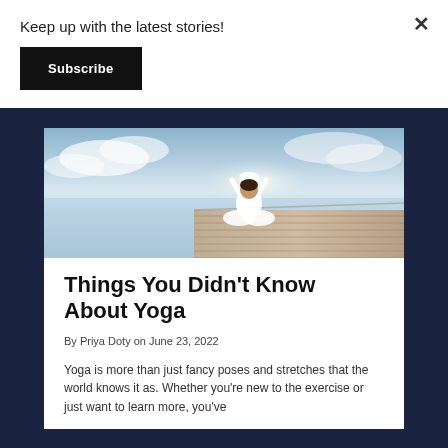Keep up with the latest stories!
Subscribe
[Figure (photo): Woman in white outfit sitting cross-legged in yoga pose on a wooden dock by the ocean, arms raised above head, shot from behind against a bright sky]
Things You Didn't Know About Yoga
By Priya Doty on June 23, 2022
Yoga is more than just fancy poses and stretches that the world knows it as. Whether you're new to the exercise or just want to learn more, you've